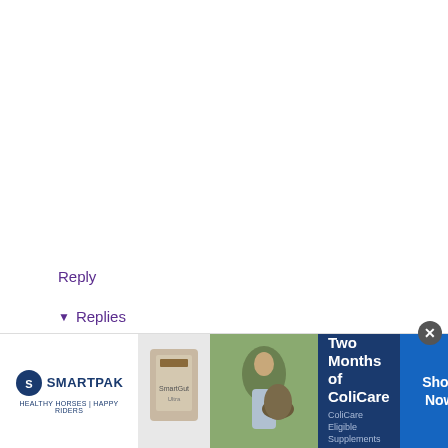Reply
▾ Replies
Chitra  November 26, 2015 at 1:35 PM
[Figure (infographic): SmartPak advertisement banner: '50% Off Two Months of ColiCare', ColiCare Eligible Supplements, CODE: COLICARE10, with Shop Now button]